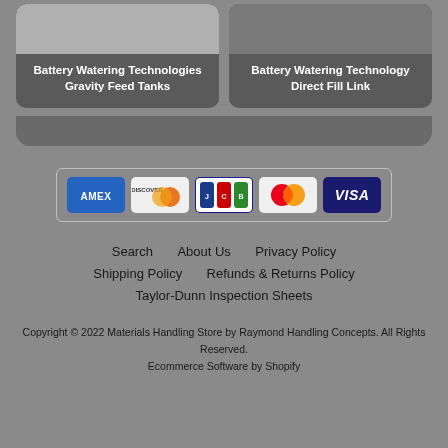Battery Watering Technologies Gravity Feed Tanks
Battery Watering Technology Direct Fill Link
[Figure (other): Payment method icons: American Express, Discover, JCB, Mastercard, Visa]
Search
About Us
Privacy Policy
Shipping Policy
Refunds & Returns Policy
Taylor-Dunn Inspection Sheets
Copyright © 2022 Materials Handling Store by Raymond Handling Concepts. All Rights Reserved.
Ecommerce Software by Shopify